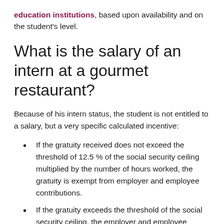education institutions, based upon availability and on the student's level.
What is the salary of an intern at a gourmet restaurant?
Because of his intern status, the student is not entitled to a salary, but a very specific calculated incentive:
If the gratuity received does not exceed the threshold of 12.5 % of the social security ceiling multiplied by the number of hours worked, the gratuity is exempt from employer and employee contributions.
If the gratuity exceeds the threshold of the social security ceiling, the employer and employee